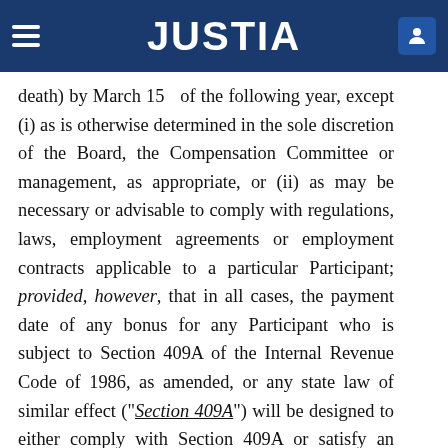JUSTIA
death) by March 15   of the following year, except (i) as is otherwise determined in the sole discretion of the Board, the Compensation Committee or management, as appropriate, or (ii) as may be necessary or advisable to comply with regulations, laws, employment agreements or employment contracts applicable to a particular Participant; provided, however, that in all cases, the payment date of any bonus for any Participant who is subject to Section 409A of the Internal Revenue Code of 1986, as amended, or any state law of similar effect (“Section 409A”) will be designed to either comply with Section 409A or satisfy an exemption from application of Section 409A, and the Bonus Plan will be administered and interpreted to the greatest extent possible in compliance with Section 409A or in accordance with such exemption, as applicable. Benefits under this Bonus Plan are not transferable, and the Bonus Plan is